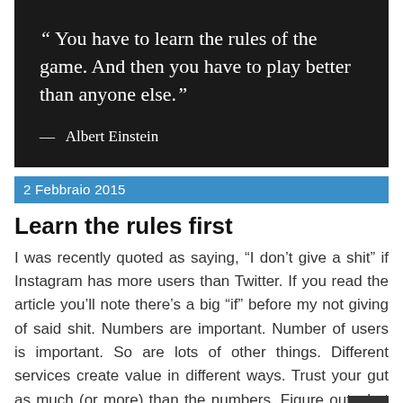“ You have to learn the rules of the game. And then you have to play better than anyone else.”
— Albert Einstein
2 Febbraio 2015
Learn the rules first
I was recently quoted as saying, “I don’t give a shit” if Instagram has more users than Twitter. If you read the article you’ll note there’s a big “if” before my not giving of said shit. Numbers are important. Number of users is important. So are lots of other things. Different services create value in different ways. Trust your gut as much (or more) than the numbers. Figure out what matters and build